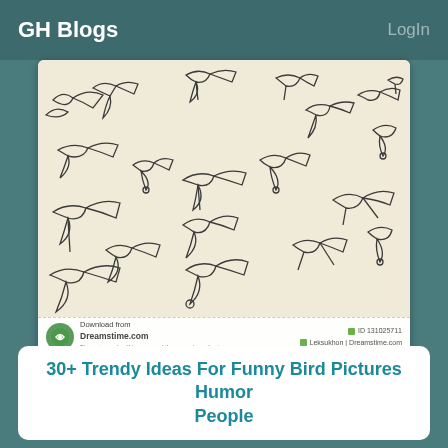GH Blogs   LogIn
[Figure (illustration): Line art pattern of various birds in flight on a cream background, downloaded from Dreamstime.com. Watermark bar at bottom with Dreamstime logo and ID/contributor info.]
30+ Trendy Ideas For Funny Bird Pictures Humor People